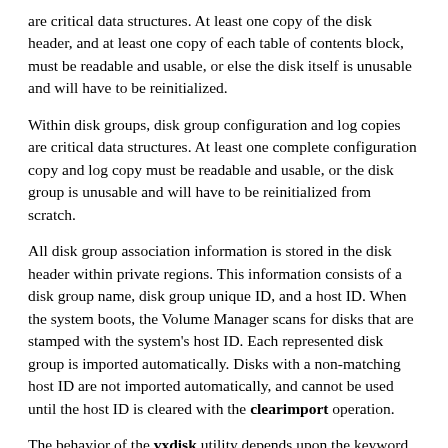are critical data structures. At least one copy of the disk header, and at least one copy of each table of contents block, must be readable and usable, or else the disk itself is unusable and will have to be reinitialized.
Within disk groups, disk group configuration and log copies are critical data structures. At least one complete configuration copy and log copy must be readable and usable, or the disk group is unusable and will have to be reinitialized from scratch.
All disk group association information is stored in the disk header within private regions. This information consists of a disk group name, disk group unique ID, and a host ID. When the system boots, the Volume Manager scans for disks that are stamped with the system's host ID. Each represented disk group is imported automatically. Disks with a non-matching host ID are not imported automatically, and cannot be used until the host ID is cleared with the clearimport operation.
The behavior of the vxdisk utility depends upon the keyword specified as the first operand. Supported operations are:
vxdisk init
Initialize regions of a disk used by the Volume Manager. This involves installing a disk header and writing an empty configuration on the disk. The common use case...